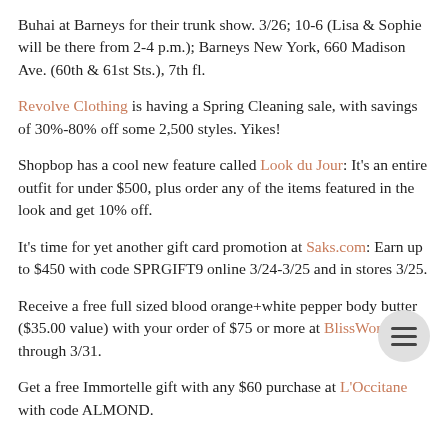Buhai at Barneys for their trunk show. 3/26; 10-6 (Lisa & Sophie will be there from 2-4 p.m.); Barneys New York, 660 Madison Ave. (60th & 61st Sts.), 7th fl.
Revolve Clothing is having a Spring Cleaning sale, with savings of 30%-80% off some 2,500 styles. Yikes!
Shopbop has a cool new feature called Look du Jour: It's an entire outfit for under $500, plus order any of the items featured in the look and get 10% off.
It's time for yet another gift card promotion at Saks.com: Earn up to $450 with code SPRGIFT9 online 3/24-3/25 and in stores 3/25.
Receive a free full sized blood orange+white pepper body butter ($35.00 value) with your order of $75 or more at BlissWorld.com through 3/31.
Get a free Immortelle gift with any $60 purchase at L'Occitane with code ALMOND.